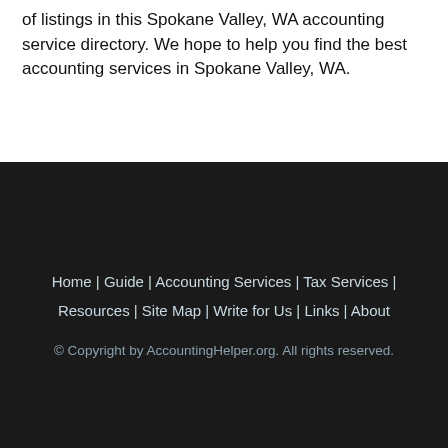of listings in this Spokane Valley, WA accounting service directory. We hope to help you find the best accounting services in Spokane Valley, WA.
Home | Guide | Accounting Services | Tax Services | Resources | Site Map | Write for Us | Links | About
© Copyright by AccountingHelper.org. All rights reserved.